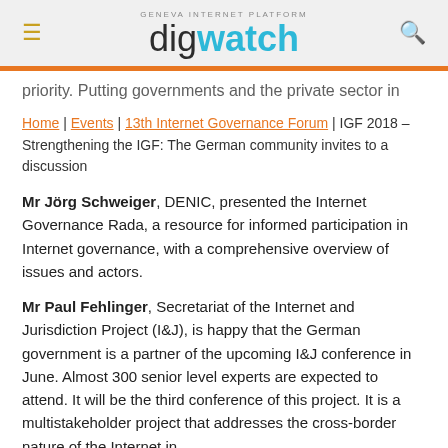GENEVA INTERNET PLATFORM digwatch
priority. Putting governments and the private sector in
Home | Events | 13th Internet Governance Forum | IGF 2018 – Strengthening the IGF: The German community invites to a discussion
Mr Jörg Schweiger, DENIC, presented the Internet Governance Rada, a resource for informed participation in Internet governance, with a comprehensive overview of issues and actors.
Mr Paul Fehlinger, Secretariat of the Internet and Jurisdiction Project (I&J), is happy that the German government is a partner of the upcoming I&J conference in June. Almost 300 senior level experts are expected to attend. It will be the third conference of this project. It is a multistakeholder project that addresses the cross-border nature of the Internet in